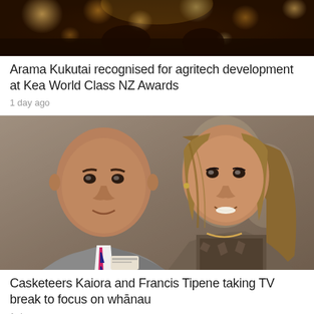[Figure (photo): Top portion of an event/awards photo with bokeh light effects in the background, partial view]
Arama Kukutai recognised for agritech development at Kea World Class NZ Awards
1 day ago
[Figure (photo): Portrait photo of two people: a bald Māori man in a grey pinstripe suit with pink and navy striped tie, and a Māori woman with long blonde-brown hair, both smiling]
Casketeers Kaiora and Francis Tipene taking TV break to focus on whānau
1 day ago